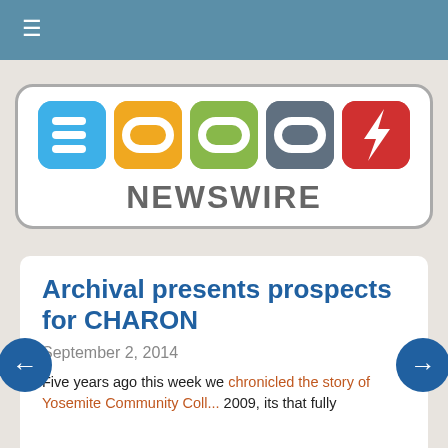≡
[Figure (logo): 3000 NewsWire logo with colored square icons (blue '3', orange '0', green '0', gray '0', red lightning bolt) and 'NewsWire' text below]
Archival presents prospects for CHARON
September 2, 2014
Five years ago this week we chronicled the story of Yosemite Community Coll... 2009, its that fully